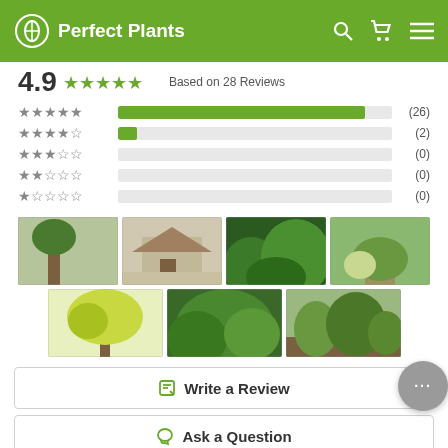Perfect Plants
4.9 ★★★★★ Based on 28 Reviews
★★★★★ (26)
★★★★☆ (2)
★★★☆☆ (0)
★★☆☆☆ (0)
★☆☆☆☆ (0)
[Figure (photo): Seven customer-submitted photos of plants: trees in landscape, house with plantings, green shrubs, container with mixed plants, flowering yellow-green tree, large green shrub, garden bed.]
Write a Review
Ask a Question